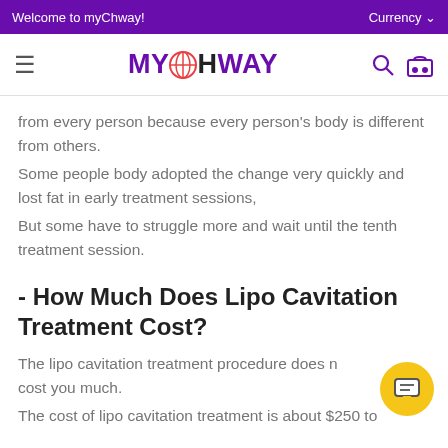Welcome to myChway!   Currency
[Figure (logo): myChway logo with hamburger menu, globe icon in the O, search icon, and cart icon]
from every person because every person's body is different from others.
Some people body adopted the change very quickly and lost fat in early treatment sessions,
But some have to struggle more and wait until the tenth treatment session.
- How Much Does Lipo Cavitation Treatment Cost?
The lipo cavitation treatment procedure does not cost you much.
The cost of lipo cavitation treatment is about $250 to